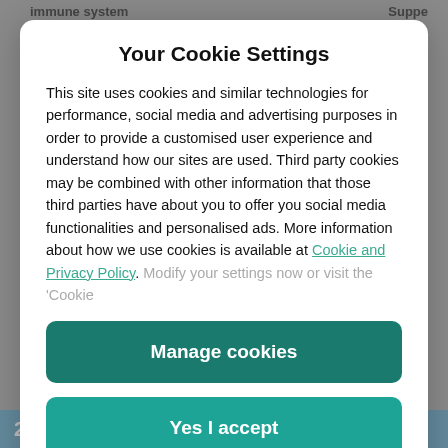immune system   Suppe
Your Cookie Settings
This site uses cookies and similar technologies for performance, social media and advertising purposes in order to provide a customised user experience and understand how our sites are used. Third party cookies may be combined with other information that those third parties have about you to offer you social media functionalities and personalised ads. More information about how we use cookies is available at Cookie and Privacy Policy. Modify your settings now or visit the ‘Cookie
Manage cookies
Yes I accept
2   Take a vitamin supplement yourself